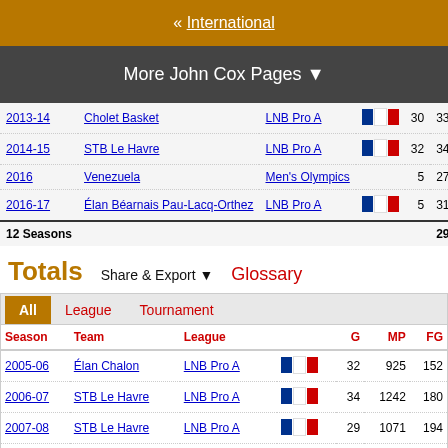« International
More John Cox Pages ▼
| Season | Team | League |  | G | MP | FG |
| --- | --- | --- | --- | --- | --- | --- |
| 2013-14 | Cholet Basket | LNB Pro A | 🇫🇷 | 30 | 33.2 | 5.3 | 11.4 |
| 2014-15 | STB Le Havre | LNB Pro A | 🇫🇷 | 32 | 34.9 | 5.7 | 13.7 |
| 2016 | Venezuela | Men's Olympics |  | 5 | 27.8 | 3.0 | 11.8 |
| 2016-17 | Élan Béarnais Pau-Lacq-Orthez | LNB Pro A | 🇫🇷 | 5 | 31.4 | 4.8 | 12.0 |
| 12 Seasons |  |  |  |  | 29.5 | 4.6 | 10.9 |
Totals
Share & Export ▼
Glossary
All  League  Tournament
| Season | Team | League |  | G | MP | FG |
| --- | --- | --- | --- | --- | --- | --- |
| 2005-06 | Élan Chalon | LNB Pro A | 🇫🇷 | 32 | 925 | 152 |
| 2006-07 | STB Le Havre | LNB Pro A | 🇫🇷 | 34 | 1242 | 180 |
| 2007-08 | STB Le Havre | LNB Pro A | 🇫🇷 | 29 | 1071 | 194 |
| 2008-09 | SLUC Nancy | EuroLeague | 🇪🇺 | 10 | 187 | 25 |
| 2008-09 | SLUC Nancy | LNB Pro A | 🇫🇷 | 28 | 554 | 97 |